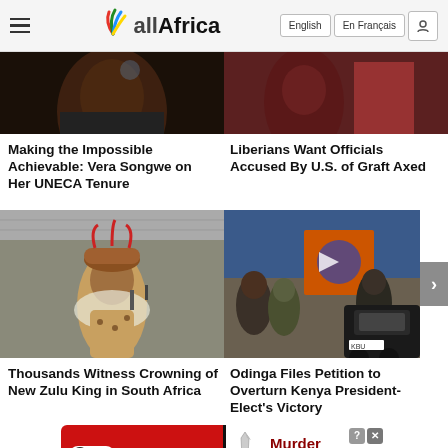allAfrica — English | En Français
[Figure (photo): Partial cropped photo of a woman (left) at top]
[Figure (photo): Partial cropped photo of people in red (right) at top]
Making the Impossible Achievable: Vera Songwe on Her UNECA Tenure
Liberians Want Officials Accused By U.S. of Graft Axed
[Figure (photo): Man in traditional Zulu ceremonial clothing and headdress at crowning ceremony]
[Figure (photo): Street scene with protesters carrying orange flag in Kenya]
Thousands Witness Crowning of New Zulu King in South Africa
Odinga Files Petition to Overturn Kenya President-Elect's Victory
[Figure (other): BitLife advertisement banner: Murder - Do it!]